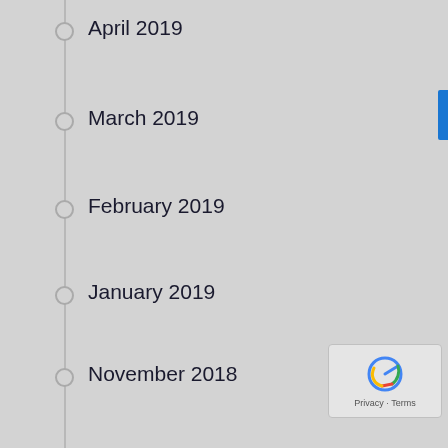April 2019
March 2019
February 2019
January 2019
November 2018
September 2018
August 2018
July 2018
June 2018
May 2018
April 2018
March 2018